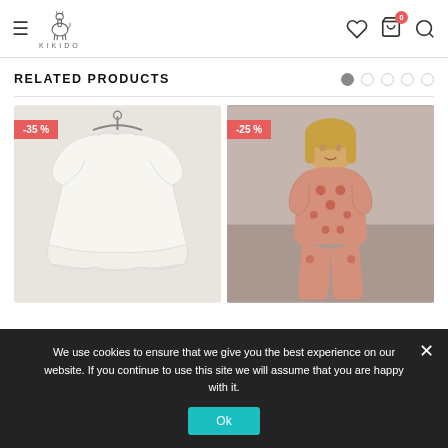Kikido - navigation header with hamburger menu, logo, heart icon, cart (0), search icon
RELATED PRODUCTS
[Figure (photo): White ruffled dress on hanger against light grey background, with -35% discount badge]
[Figure (photo): Young child wearing pink patterned outfit against grey background, with -25% discount badge]
We use cookies to ensure that we give you the best experience on our website. If you continue to use this site we will assume that you are happy with it.